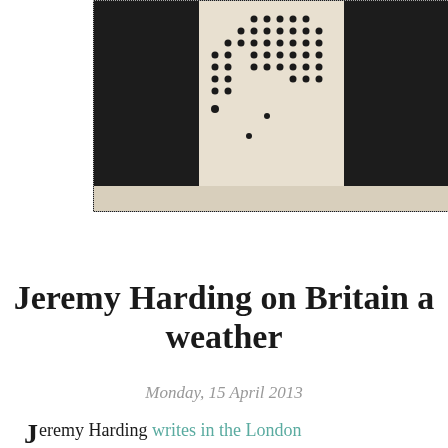[Figure (photo): Cropped black and white image showing dotted/braille-like pattern on a beige/cream background against a dark background]
Jeremy Harding on Britain a weather
Monday, 15 April 2013
Jeremy Harding writes in the London